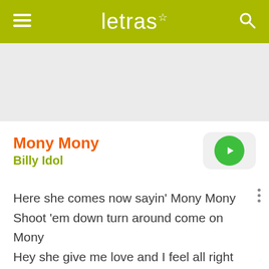letras☆
Mony Mony
Billy Idol
Here she comes now sayin' Mony Mony
Shoot 'em down turn around come on Mony
Hey she give me love and I feel all right now
Come on you gotta toss and turn
And feel all right, yeah I feel all right
I said yeah, yeah, yeah, yeah, yeah